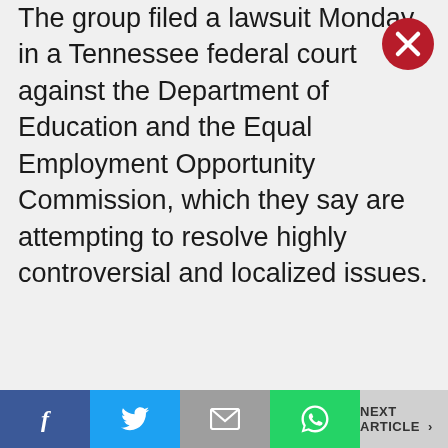The group filed a lawsuit Monday in a Tennessee federal court against the Department of Education and the Equal Employment Opportunity Commission, which they say are attempting to resolve highly controversial and localized issues.
[Figure (other): Red circular close button with white X in upper right corner]
NEXT ARTICLE >